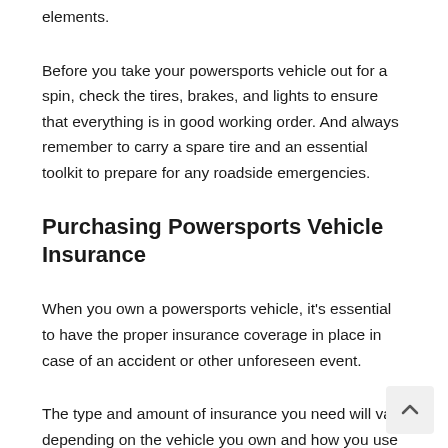elements.
Before you take your powersports vehicle out for a spin, check the tires, brakes, and lights to ensure that everything is in good working order. And always remember to carry a spare tire and an essential toolkit to prepare for any roadside emergencies.
Purchasing Powersports Vehicle Insurance
When you own a powersports vehicle, it's essential to have the proper insurance coverage in place in case of an accident or other unforeseen event.
The type and amount of insurance you need will vary depending on the vehicle you own and how you use it. For example, suppose you only use your ATV for